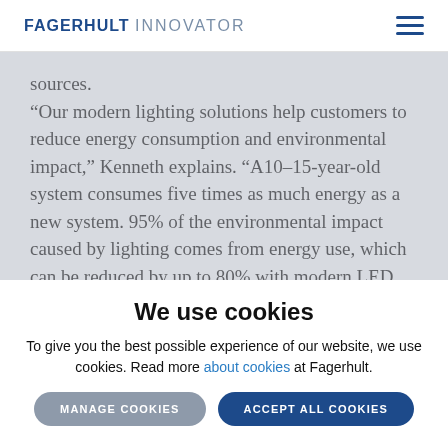FAGERHULT INNOVATOR
sources.
“Our modern lighting solutions help customers to reduce energy consumption and environmental impact,” Kenneth explains. “A10–15-year-old system consumes five times as much energy as a new system. 95% of the environmental impact caused by lighting comes from energy use, which can be reduced by up to 80% with modern LED luminaires and control systems.”
We use cookies
To give you the best possible experience of our website, we use cookies. Read more about cookies at Fagerhult.
MANAGE COOKIES   ACCEPT ALL COOKIES